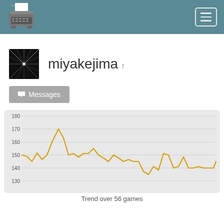Navigation bar with typewriter logo and hamburger menu
[Figure (logo): Typewriter icon logo in the navigation bar]
miyakejima r
Messages
[Figure (line-chart): Trend over 56 games]
Trend over 56 games